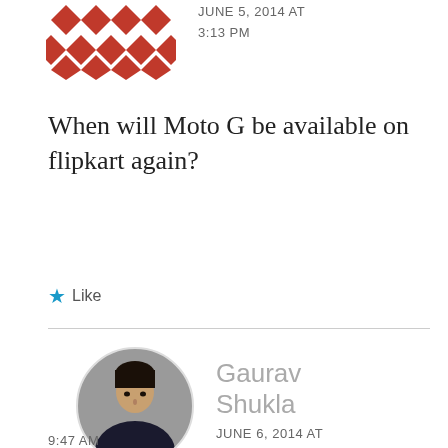[Figure (illustration): Partial view of a red geometric/mosaic avatar icon at the top of the page, cut off]
JUNE 5, 2014 AT 3:13 PM
When will Moto G be available on flipkart again?
★ Like
[Figure (photo): Circular profile photo of Gaurav Shukla, a man wearing a dark shirt, grey background]
Gaurav Shukla JUNE 6, 2014 AT 9:47 AM
https://androidos.in/2014/06/moto-g-get-back-stock-flipkart-today/